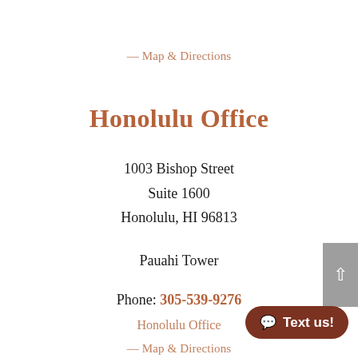— Map & Directions
Honolulu Office
1003 Bishop Street
Suite 1600
Honolulu, HI 96813
Pauahi Tower
Phone: 305-539-9276
Honolulu Office
— Map & Directions